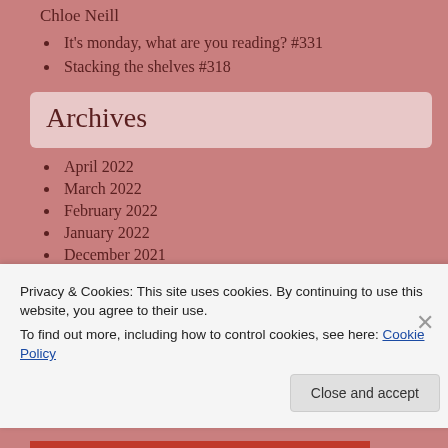Chloe Neill
It's monday, what are you reading? #331
Stacking the shelves #318
Archives
April 2022
March 2022
February 2022
January 2022
December 2021
Privacy & Cookies: This site uses cookies. By continuing to use this website, you agree to their use.
To find out more, including how to control cookies, see here: Cookie Policy
Close and accept